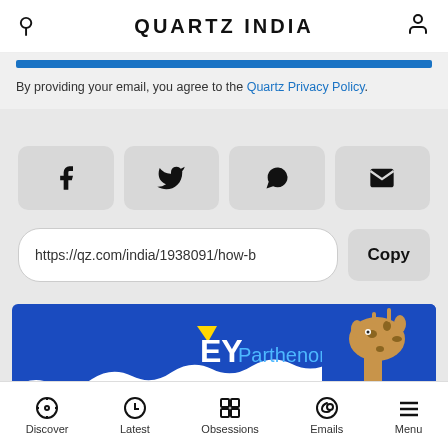QUARTZ INDIA
By providing your email, you agree to the Quartz Privacy Policy.
[Figure (screenshot): Four share buttons: Facebook, Twitter, WhatsApp, Email]
https://qz.com/india/1938091/how-b
[Figure (screenshot): EY Parthenon advertisement banner with giraffe image on blue background]
Discover | Latest | Obsessions | Emails | Menu